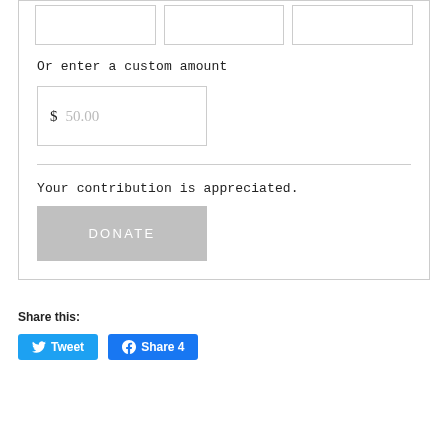Or enter a custom amount
$ 50.00
Your contribution is appreciated.
DONATE
Share this:
Tweet
Share 4